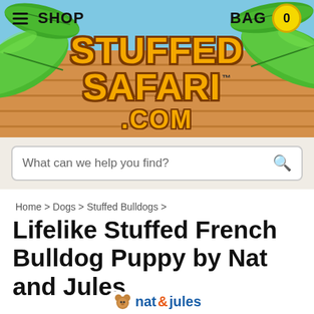[Figure (screenshot): Stuffed Safari website header with logo, navigation (SHOP, BAG 0), tropical leaf decorations, wooden plank background, and search bar reading 'What can we help you find?']
Home > Dogs > Stuffed Bulldogs >
Lifelike Stuffed French Bulldog Puppy by Nat and Jules
[Figure (logo): Nat & Jules brand logo with bear icon]